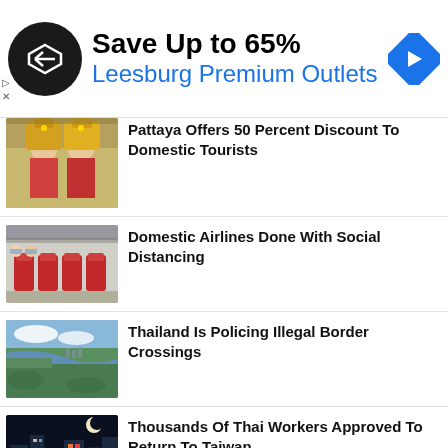[Figure (infographic): Advertisement banner: Save Up to 65% Leesburg Premium Outlets with circular dark logo and blue diamond arrow icon]
[Figure (photo): Thai women in traditional costume and headdress]
Pattaya Offers 50 Percent Discount To Domestic Tourists
[Figure (photo): Interior of an airplane cabin with red seats and passengers]
Domestic Airlines Done With Social Distancing
[Figure (photo): Aerial view of a river and green landscape, likely Thailand border area]
Thailand Is Policing Illegal Border Crossings
[Figure (photo): Night cityscape with bright signs and moon, likely Taiwan]
Thousands Of Thai Workers Approved To Return To Taiwan